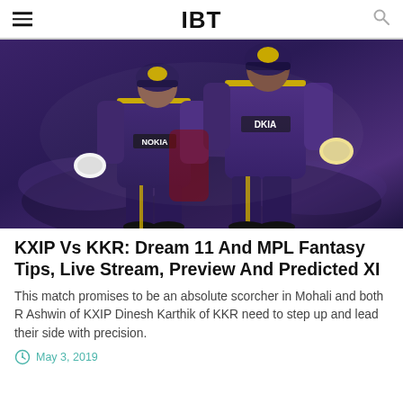IBT
[Figure (photo): Two KKR cricket players in purple Nokia-branded jerseys walking together on a cricket ground, holding batting gloves]
KXIP Vs KKR: Dream 11 And MPL Fantasy Tips, Live Stream, Preview And Predicted XI
This match promises to be an absolute scorcher in Mohali and both R Ashwin of KXIP Dinesh Karthik of KKR need to step up and lead their side with precision.
May 3, 2019